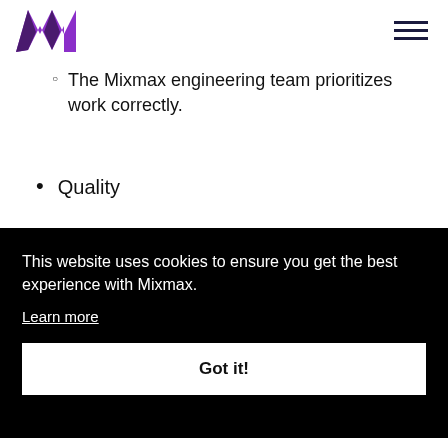Mixmax logo and navigation
The Mixmax engineering team prioritizes work correctly.
Quality
This website uses cookies to ensure you get the best experience with Mixmax. Learn more
Got it!